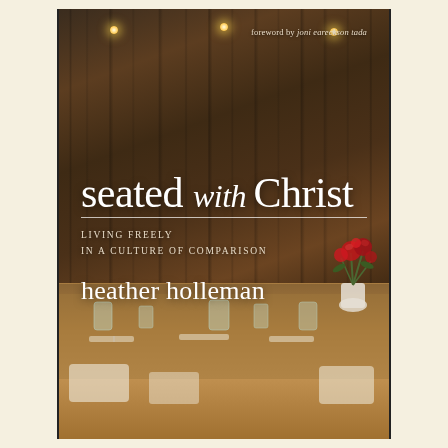[Figure (photo): Book cover for 'Seated with Christ: Living Freely in a Culture of Comparison' by Heather Holleman, foreword by Joni Eareckson Tada. Photo shows a rustic barn wood background with hanging lights, a set dining table with mason jars, utensils and napkins, and a red floral arrangement on the right.]
foreword by joni eareckson tada
seated with Christ
LIVING FREELY
IN A CULTURE OF COMPARISON
heather holleman